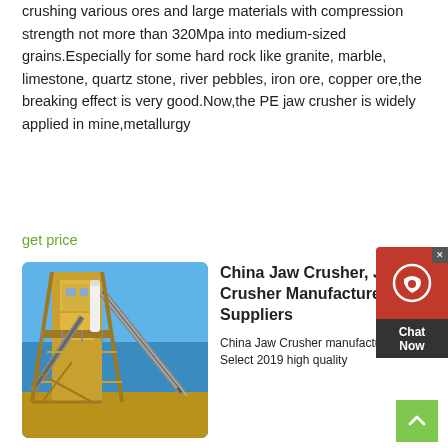crushing various ores and large materials with compression strength not more than 320Mpa into medium-sized grains.Especially for some hard rock like granite, marble, limestone, quartz stone, river pebbles, iron ore, copper ore,the breaking effect is very good.Now,the PE jaw crusher is widely applied in mine,metallurgy
get price
[Figure (photo): Large yellow industrial jaw crusher / mining equipment structure photographed from below against a blue sky]
China Jaw Crusher, Jaw Crusher Manufacturers, Suppliers
China Jaw Crusher manufacturers Select 2019 high quality Jaw Crusher products in best price from certified Chinese Mill Equipment manufacturers, Mining Machine suppliers, wholesalers and factory on Made-in-China, page 2
get price
Crushers NEW